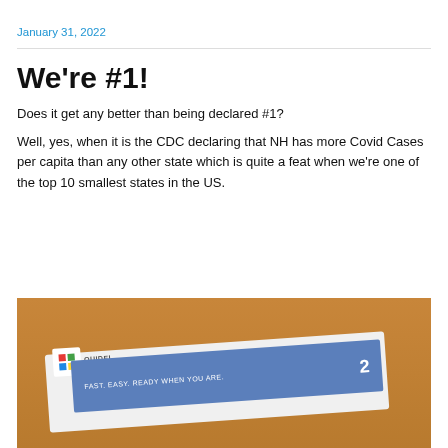January 31, 2022
We’re #1!
Does it get any better than being declared #1?
Well, yes, when it is the CDC declaring that NH has more Covid Cases per capita than any other state which is quite a feat when we’re one of the top 10 smallest states in the US.
[Figure (photo): Photo of a Quidel COVID-19 rapid test box on a wooden surface. The box is white with a blue stripe reading 'FAST. EASY. READY WHEN YOU ARE.' and shows the number 2 (tests). The Quidel logo with colored squares is visible.]